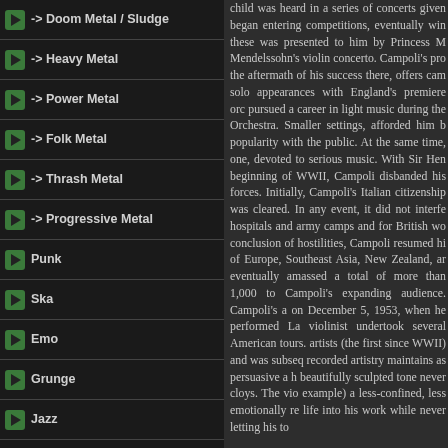-> Doom Metal / Sludge
-> Heavy Metal
-> Power Metal
-> Folk Metal
-> Thrash Metal
-> Progressive Metal
Punk
Ska
Emo
Grunge
Jazz
Blues
Reggae
Folk
Indie
Pop
Rap
Chanson
Soundtrack
Video
Live
Clip
child was heard in a series of concerts given... began entering competitions, eventually win... these was presented to him by Princess M... Mendelssohn's violin concerto. Campoli's pro... the aftermath of his success there, offers cam... solo appearances with England's premiere orc... pursued a career in light music during the... Orchestra. Smaller settings, afforded him b... popularity with the public. At the same time,... one, devoted to serious music. With Sir Hen... beginning of WWII, Campoli disbanded his... forces. Initially, Campoli's Italian citizenship... was cleared. In any event, it did not interfe... hospitals and army camps and for British wo... conclusion of hostilities, Campoli resumed hi... of Europe, Southeast Asia, New Zealand, ar... eventually amassed a total of more than 1,000... to Campoli's expanding audience. Campoli's a... on December 5, 1953, when he performed La... violinist undertook several American tours.... artists (the first since WWII) and was subseq... recorded artistry maintains as persuasive a h... beautifully sculpted tone never cloys. The vio... example) a less-confined, less emotionally re... life into his work while never letting his to...